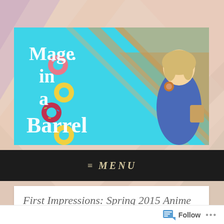[Figure (illustration): Pastel diagonal striped background in pink, lavender, peach and tan colors]
[Figure (illustration): Blog header banner for 'Mage in a Barrel' — cyan/turquoise background with diagonal orange/tan stripe lines, colorful donuts on the left, anime girl character on the right holding a donut, white bold text reading 'Mage in a Barrel']
≡ MENU
First Impressions: Spring 2015 Anime (Part 1)
APRIL 5, 2015    54 COMMENTS
Follow ...